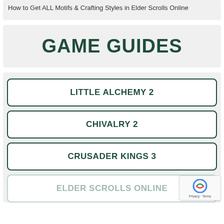How to Get ALL Motifs & Crafting Styles in Elder Scrolls Online
GAME GUIDES
LITTLE ALCHEMY 2
CHIVALRY 2
CRUSADER KINGS 3
ELDER SCROLLS ONLINE